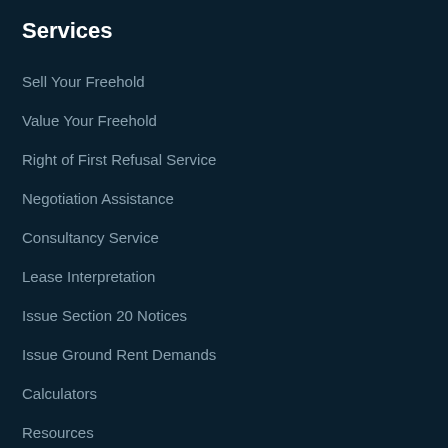Services
Sell Your Freehold
Value Your Freehold
Right of First Refusal Service
Negotiation Assistance
Consultancy Service
Lease Interpretation
Issue Section 20 Notices
Issue Ground Rent Demands
Calculators
Resources
FAQs
Serve Notices